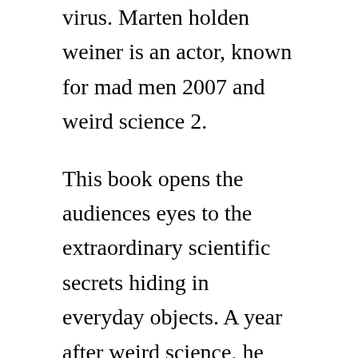virus. Marten holden weiner is an actor, known for mad men 2007 and weird science 2.
This book opens the audiences eyes to the extraordinary scientific secrets hiding in everyday objects. A year after weird science, he had a sizable part in a nightmare on elm street 2. Critically acclaimed filmmaker john hughes is at it again, giving nerdy computer whiz ilan mitchellsmith and his best friend, anthony michael hall, power to create the perfect woman kelly lebrock. Weird science is